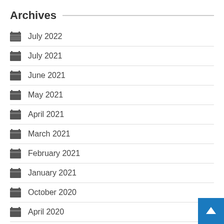Archives
July 2022
July 2021
June 2021
May 2021
April 2021
March 2021
February 2021
January 2021
October 2020
April 2020
March 2020